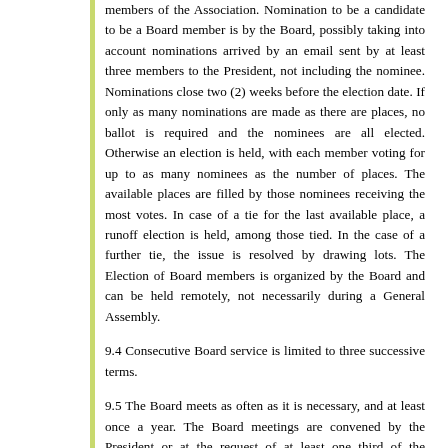members of the Association. Nomination to be a candidate to be a Board member is by the Board, possibly taking into account nominations arrived by an email sent by at least three members to the President, not including the nominee. Nominations close two (2) weeks before the election date. If only as many nominations are made as there are places, no ballot is required and the nominees are all elected. Otherwise an election is held, with each member voting for up to as many nominees as the number of places. The available places are filled by those nominees receiving the most votes. In case of a tie for the last available place, a runoff election is held, among those tied. In the case of a further tie, the issue is resolved by drawing lots. The Election of Board members is organized by the Board and can be held remotely, not necessarily during a General Assembly.
9.4 Consecutive Board service is limited to three successive terms.
9.5 The Board meets as often as it is necessary, and at least once a year. The Board meetings are convened by the President or at the request of at least one third of the members.
9.6 Participation by more than one third of Board members is necessary for decisions of the Board to be valid. Minutes shall be taken during each meeting and shall be distributed and archived by the Secretary. Decisions are made by an absolute majority of votes cast.
9.7 The Board may appoint an Honorary President...